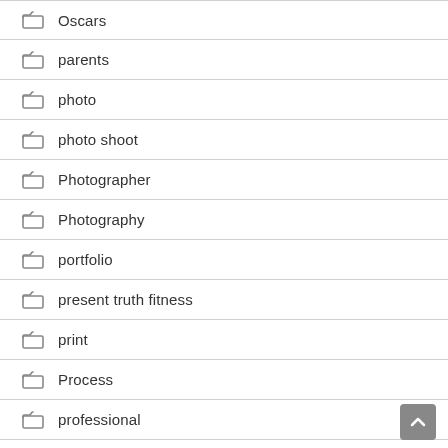Oscars
parents
photo
photo shoot
Photographer
Photography
portfolio
present truth fitness
print
Process
professional
Quotes